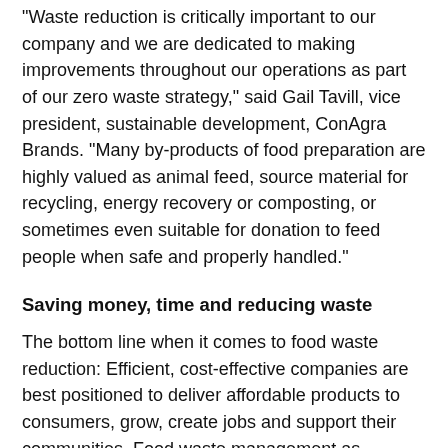"Waste reduction is critically important to our company and we are dedicated to making improvements throughout our operations as part of our zero waste strategy," said Gail Tavill, vice president, sustainable development, ConAgra Brands. "Many by-products of food preparation are highly valued as animal feed, source material for recycling, energy recovery or composting, or sometimes even suitable for donation to feed people when safe and properly handled."
Saving money, time and reducing waste
The bottom line when it comes to food waste reduction: Efficient, cost-effective companies are best positioned to deliver affordable products to consumers, grow, create jobs and support their communities. Food waste management as practiced by several Arkansas food and manufacturing industry leaders is not only saving money and resources, it's making a difference in the lives of U.S. citizens and people around the globe. And using